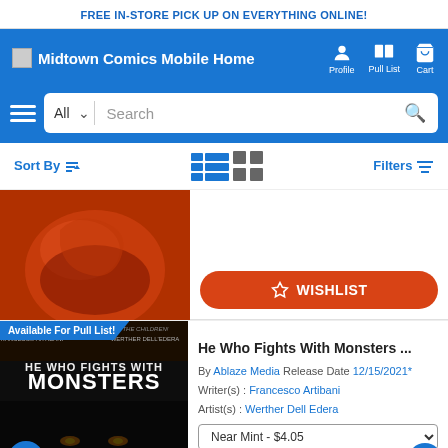FREE IN-STORE PICK UP ON EVERYTHING ONLINE!
[Figure (screenshot): Midtown Comics mobile website navigation header with logo, Profile, Pull List, Cart icons on blue background]
[Figure (screenshot): Search bar with All dropdown and search input on blue background with hamburger menu]
Sort By | Filters
[Figure (photo): Partially visible comic book cover with orange/red tones]
WISHLIST
Available For Pull List!
[Figure (illustration): He Who Fights With Monsters comic book cover with dark background and glowing eyes]
He Who Fights With Monsters ...
By Ablaze Media Release Date 12/15/2021*
Writer(s) : Francesco Artibani
Artist(s) : Werther Dell Edera
Near Mint - $4.05
$0.00